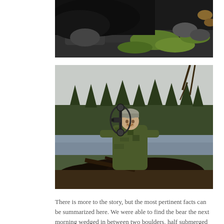[Figure (photo): Close-up photo of a black bear on rocky ground with green moss and foliage, partially cropped at top.]
[Figure (photo): A hunter in camouflage clothing holding a compound bow, posing behind a large harvested black bear near a lake with a forested background.]
There is more to the story, but the most pertinent facts can be summarized here. We were able to find the bear the next morning wedged in between two boulders, half submerged in a frigid lake, obviously